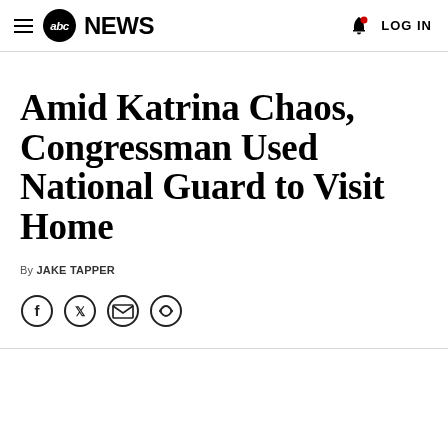abc NEWS | LOG IN
Amid Katrina Chaos, Congressman Used National Guard to Visit Home
By JAKE TAPPER
[Figure (other): Social sharing icons: Facebook, Twitter, Email, Link]